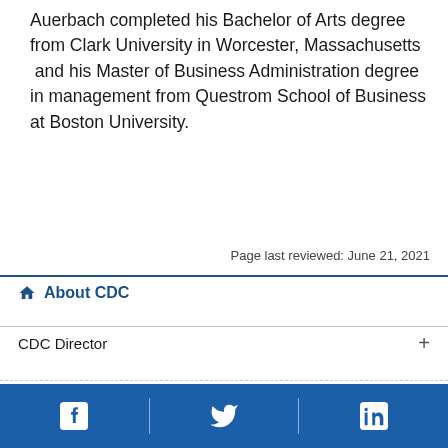Auerbach completed his Bachelor of Arts degree from Clark University in Worcester, Massachusetts  and his Master of Business Administration degree in management from Questrom School of Business at Boston University.
Page last reviewed: June 21, 2021
About CDC
CDC Director
Facebook, Twitter, LinkedIn social media icons